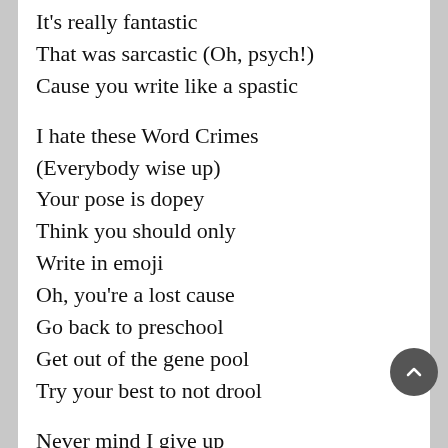It's really fantastic
That was sarcastic (Oh, psych!)
Cause you write like a spastic

I hate these Word Crimes
(Everybody wise up)
Your pose is dopey
Think you should only
Write in emoji
Oh, you're a lost cause
Go back to preschool
Get out of the gene pool
Try your best to not drool

Never mind I give up
Really now I give up
Hey, hey, hey